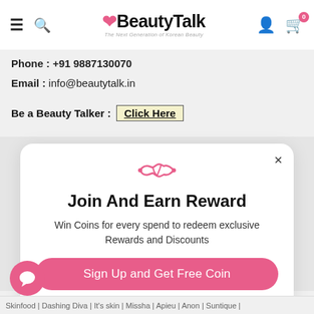BeautyTalk — The Next Generation of Korean Beauty | hamburger menu, search, user, cart (0)
Phone : +91 9887130070
Email : info@beautytalk.in
Be a Beauty Talker :  Click Here
[Figure (screenshot): Modal popup with handshake icon, heading 'Join And Earn Reward', description 'Win Coins for every spend to redeem exclusive Rewards and Discounts', pink 'Sign Up and Get Free Coin' button, and 'Already have an account? Login' link. Close (×) button at top right.]
Skinfood | Dashing Diva | It's skin | Missha | Apieu | Anon | Suntique |